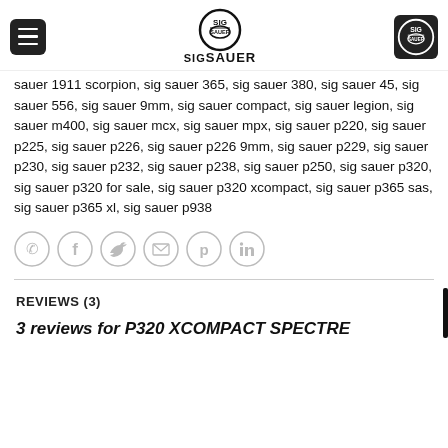SIG SAUER logo header with menu and logo buttons
sauer 1911 scorpion, sig sauer 365, sig sauer 380, sig sauer 45, sig sauer 556, sig sauer 9mm, sig sauer compact, sig sauer legion, sig sauer m400, sig sauer mcx, sig sauer mpx, sig sauer p220, sig sauer p225, sig sauer p226, sig sauer p226 9mm, sig sauer p229, sig sauer p230, sig sauer p232, sig sauer p238, sig sauer p250, sig sauer p320, sig sauer p320 for sale, sig sauer p320 xcompact, sig sauer p365 sas, sig sauer p365 xl, sig sauer p938
[Figure (infographic): Row of 6 social sharing icons in circles: phone, Facebook, Twitter, email, Pinterest, LinkedIn]
REVIEWS (3)
3 reviews for P320 XCOMPACT SPECTRE